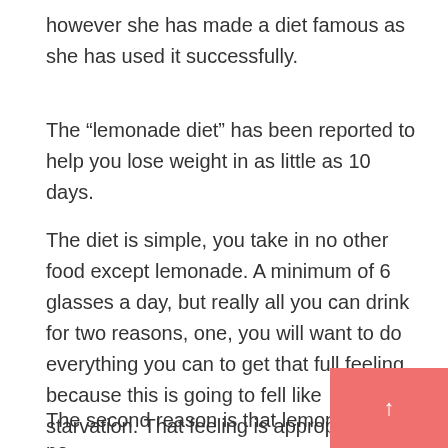however she has made a diet famous as she has used it successfully.
The “lemonade diet” has been reported to help you lose weight in as little as 10 days.
The diet is simple, you take in no other food except lemonade. A minimum of 6 glasses a day, but really all you can drink for two reasons, one, you will want to do everything you can to get that full feeling because this is going to fell like starvation. That feeling is appropriate, since you are literally starving yourself for 10 days.
The second reason is that lemonade is a powerful